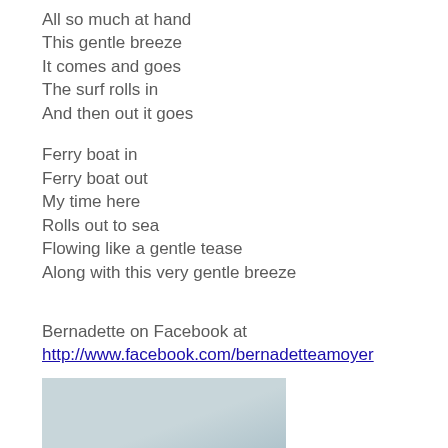All so much at hand
This gentle breeze
It comes and goes
The surf rolls in
And then out it goes

Ferry boat in
Ferry boat out
My time here
Rolls out to sea
Flowing like a gentle tease
Along with this very gentle breeze
Bernadette on Facebook at
http://www.facebook.com/bernadetteamoyer
[Figure (photo): A partially visible outdoor or nature photograph with light blue-grey tones, cropped at the bottom of the page.]